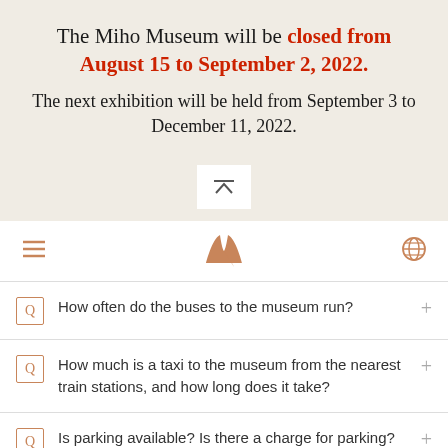The Miho Museum will be closed from August 15 to September 2, 2022.
The next exhibition will be held from September 3 to December 11, 2022.
[Figure (logo): Miho Museum logo: stylized mountain/wing shape in brown/copper color]
How often do the buses to the museum run?
How much is a taxi to the museum from the nearest train stations, and how long does it take?
Is parking available? Is there a charge for parking?